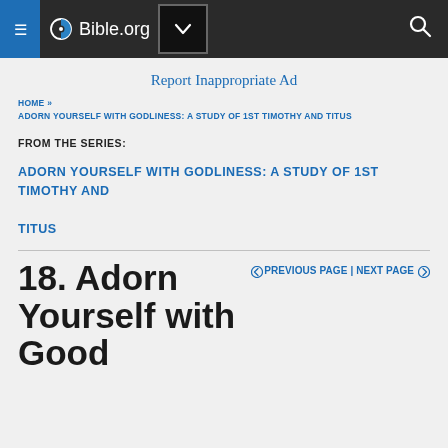Bible.org
Report Inappropriate Ad
HOME » ADORN YOURSELF WITH GODLINESS: A STUDY OF 1ST TIMOTHY AND TITUS
FROM THE SERIES:
ADORN YOURSELF WITH GODLINESS: A STUDY OF 1ST TIMOTHY AND TITUS
← PREVIOUS PAGE | NEXT PAGE ©
18. Adorn Yourself with Good